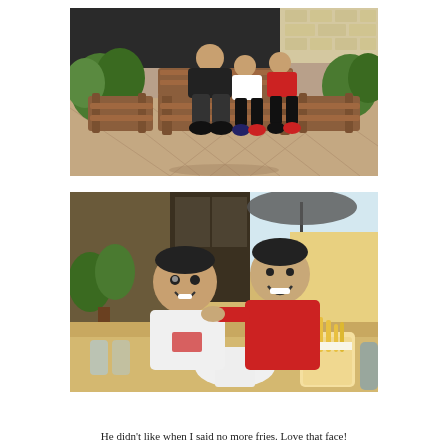[Figure (photo): Outdoor photo of a man and two boys sitting on a wooden bench on a brick patio. The man wears a black top and dark shorts. The two boys wear Adidas shirts, one white and one red. Green plants and a building wall are visible in the background.]
[Figure (photo): Restaurant patio photo of a smiling boy in a white Adidas shirt and a smiling man in a red shirt, posing together. A basket of french fries is on the table. An umbrella and outdoor seating are visible in the background.]
He didn't like when I said no more fries. Love that face!